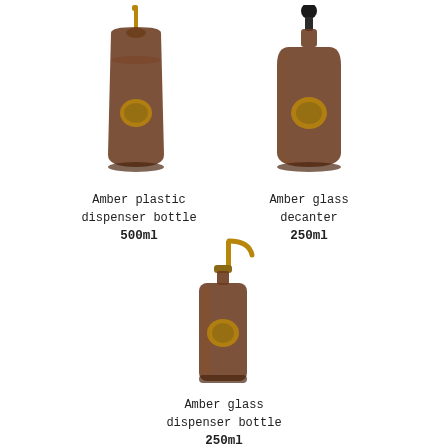[Figure (photo): Amber plastic dispenser bottle with gold pump top, 500ml]
Amber plastic dispenser bottle
500ml
[Figure (photo): Amber glass decanter with black stopper top, 250ml]
Amber glass decanter
250ml
[Figure (photo): Amber glass dispenser bottle with gold pump, 250ml]
Amber glass dispenser bottle
250ml